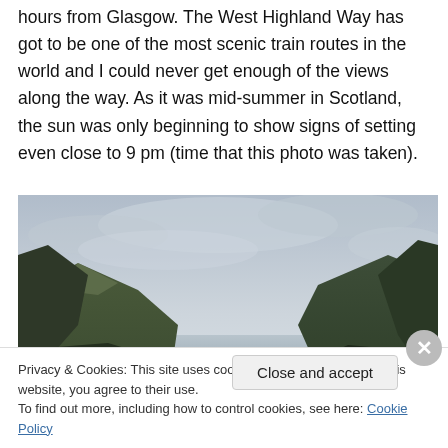hours from Glasgow. The West Highland Way has got to be one of the most scenic train routes in the world and I could never get enough of the views along the way. As it was mid-summer in Scotland, the sun was only beginning to show signs of setting even close to 9 pm (time that this photo was taken).
[Figure (photo): Landscape photo of Scottish Highlands showing mountains and a loch under a cloudy sky, taken near the West Highland Way around 9 pm in mid-summer.]
Privacy & Cookies: This site uses cookies. By continuing to use this website, you agree to their use.
To find out more, including how to control cookies, see here: Cookie Policy